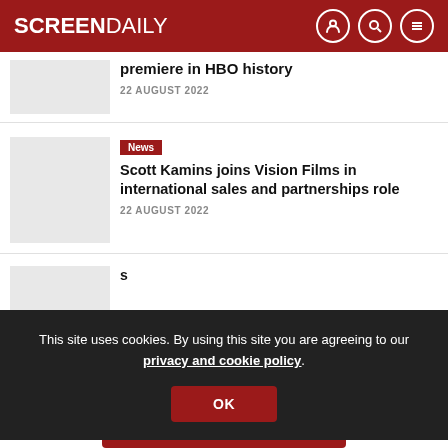SCREEN DAILY
premiere in HBO history
22 AUGUST 2022
News
Scott Kamins joins Vision Films in international sales and partnerships role
22 AUGUST 2022
This site uses cookies. By using this site you are agreeing to our privacy and cookie policy.
OK
LOAD MORE ARTICLES